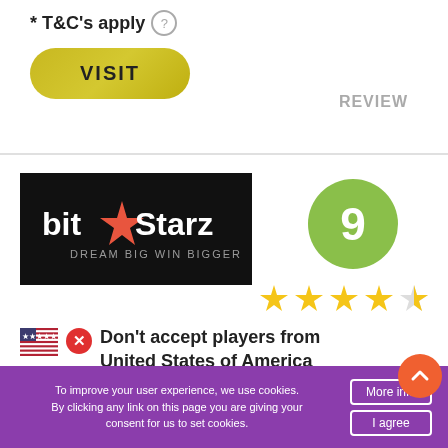* T&C's apply ?
VISIT
REVIEW
[Figure (logo): BitStarz casino logo — black background with 'bit★Starz DREAM BIG WIN BIGGER']
9
★★★★½ (4.5 stars)
Don't accept players from United States of America
To improve your user experience, we use cookies. By clicking any link on this page you are giving your consent for us to set cookies.
More info
I agree